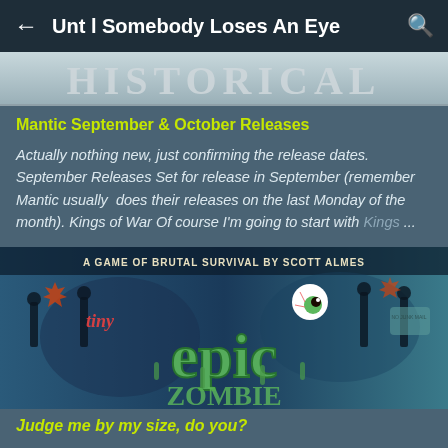← Unt l Somebody Loses An Eye 🔍
[Figure (photo): Partial image showing the word HISTORICAL in large letters on a banner or sign, cropped at the top]
Mantic September & October Releases
Actually nothing new, just confirming the release dates. September Releases Set for release in September (remember Mantic usually does their releases on the last Monday of the month). Kings of War Of course I'm going to start with Kings …
[Figure (photo): Box art image for 'Tiny Epic Zombies' board game - A Game of Brutal Survival by Scott Almes, showing zombie-themed illustrated artwork with colorful green zombie lettering and silhouettes]
Judge me by my size, do you?